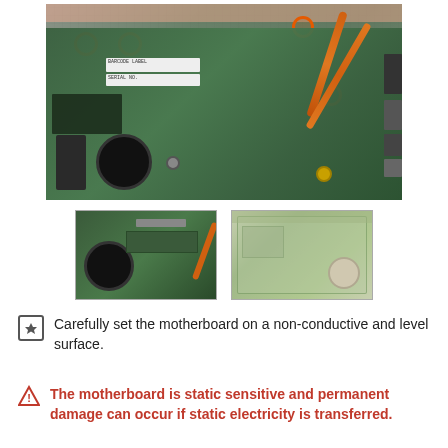[Figure (photo): Top-down photo of a laptop motherboard with orange circles highlighting screw locations and orange heat pipe visible. Green PCB with various components, connectors, and labels visible.]
[Figure (photo): Thumbnail of laptop motherboard with fan and heat pipe assembly, angled view.]
[Figure (photo): Thumbnail of bare laptop motherboard PCB, back/bottom side view.]
Carefully set the motherboard on a non-conductive and level surface.
The motherboard is static sensitive and permanent damage can occur if static electricity is transferred.